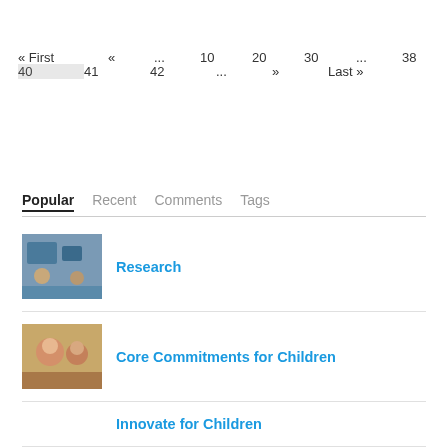« First « ... 10 20 30 ... 38 39 40 41 42 ... » Last »
Popular Recent Comments Tags
[Figure (photo): Thumbnail photo of children in a classroom setting]
Research
[Figure (photo): Thumbnail photo of two young children]
Core Commitments for Children
Innovate for Children
Global Mandate (CRC)